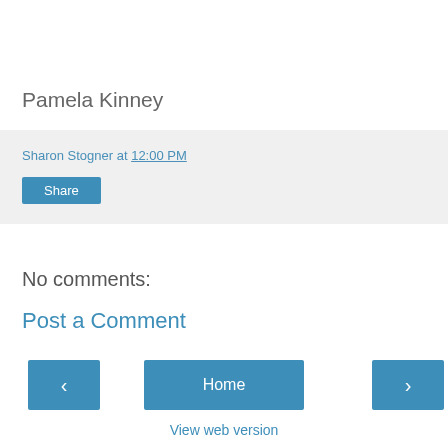Pamela Kinney
Sharon Stogner at 12:00 PM
Share
No comments:
Post a Comment
‹
Home
›
View web version
Powered by Blogger.